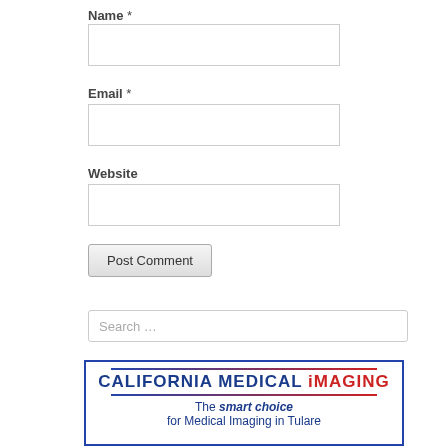Name *
Email *
Website
Post Comment
Search …
[Figure (logo): California Medical Imaging logo with tagline: The smart choice for Medical Imaging in Tulare]